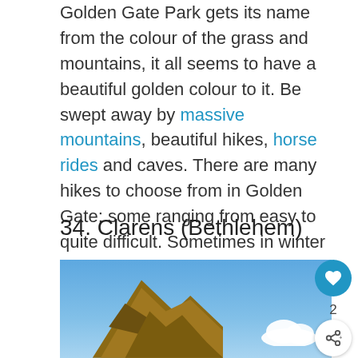Golden Gate Park gets its name from the colour of the grass and mountains, it all seems to have a beautiful golden colour to it. Be swept away by massive mountains, beautiful hikes, horse rides and caves. There are many hikes to choose from in Golden Gate; some ranging from easy to quite difficult. Sometimes in winter it even snows, so this is a beautiful place to visit.
34. Clarens (Bethlehem)
[Figure (photo): Photo of a rocky sandstone formation against a blue sky with clouds, likely in Golden Gate Highlands National Park area near Clarens.]